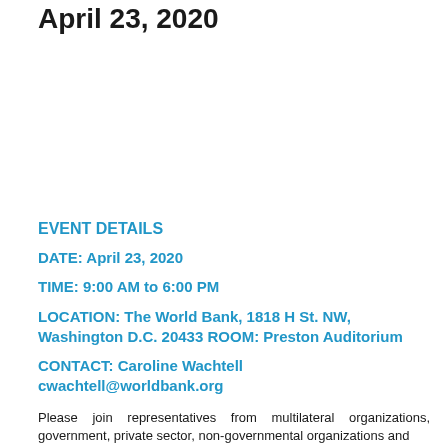April 23, 2020
EVENT DETAILS
DATE: April 23, 2020
TIME: 9:00 AM to 6:00 PM
LOCATION: The World Bank, 1818 H St. NW, Washington D.C. 20433 ROOM: Preston Auditorium
CONTACT: Caroline Wachtell cwachtell@worldbank.org
Please join representatives from multilateral organizations, government, private sector, non-governmental organizations and